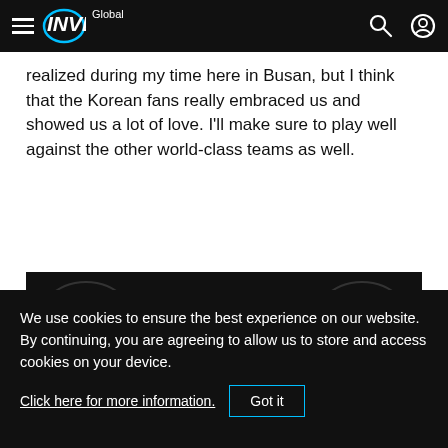INVEN Global
realized during my time here in Busan, but I think that the Korean fans really embraced us and showed us a lot of love. I'll make sure to play well against the other world-class teams as well.
[Figure (infographic): Dark promo banner: WANT TO HELP ESPORTS GROW? with a SUBSCRIBE button and text GET ONE MONTH FREE DURING WORLDS 2022]
We use cookies to ensure the best experience on our website. By continuing, you are agreeing to allow us to store and access cookies on your device. Click here for more information. Got it